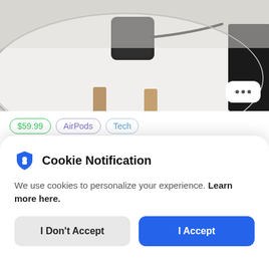[Figure (photo): Product photo showing a black square wireless charging pad on a white round table with wooden legs. A black object is partially visible on the right edge.]
$59.99   AirPods   Tech
Native Union Drop Magnetic 15W Wireless Charger
Cookie Notification
We use cookies to personalize your experience. Learn more here.
I Don't Accept   I Accept